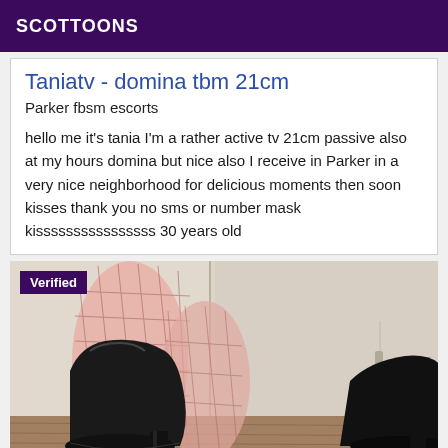SCOTTOONS
Taniatv - domina tbm 21cm
Parker fbsm escorts
hello me it's tania I'm a rather active tv 21cm passive also at my hours domina but nice also I receive in Parker in a very nice neighborhood for delicious moments then soon kisses thank you no sms or number mask kissssssssssssssss 30 years old
[Figure (photo): Photo showing legs in fishnet stockings and black high-heeled boots, with a white door/wall in the background. A purple 'Verified' badge is overlaid in the top-left corner.]